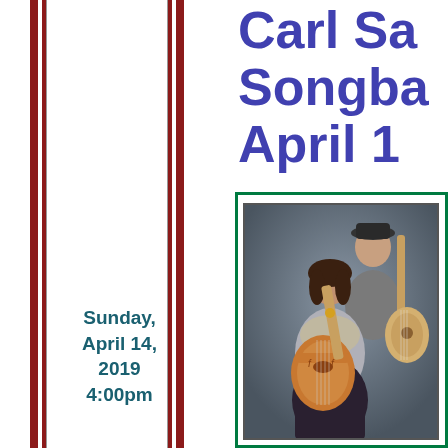Carl Sa... Songba... April 1...
Sunday, April 14, 2019 4:00pm
[Figure (photo): Two musicians posing with guitars — a woman in front holding an archtop guitar and a man behind holding an acoustic guitar, against a dark studio backdrop]